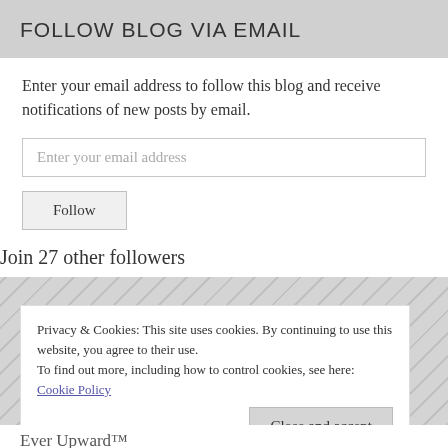FOLLOW BLOG VIA EMAIL
Enter your email address to follow this blog and receive notifications of new posts by email.
Enter your email address
Follow
Join 27 other followers
Privacy & Cookies: This site uses cookies. By continuing to use this website, you agree to their use. To find out more, including how to control cookies, see here: Cookie Policy
Close and accept
Ever Upward™